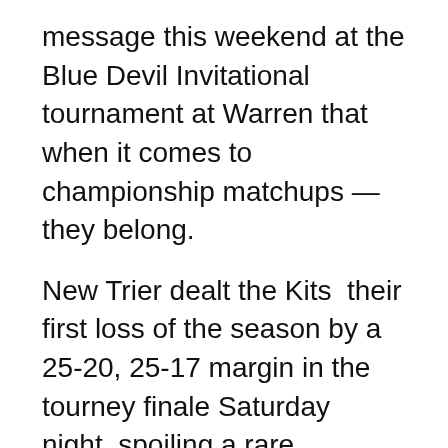message this weekend at the Blue Devil Invitational tournament at Warren that when it comes to championship matchups — they belong.
New Trier dealt the Kits  their first loss of the season by a 25-20, 25-17 margin in the tourney finale Saturday night, spoiling a rare championship match tournament appearance for an ETHS program that hasn't beaten New Trier in Mike McDermott's 10 years as head coach.
But Evanston, now 7-1 overall, also showed signs that the resurgence of the program should be taken seriously by every potential